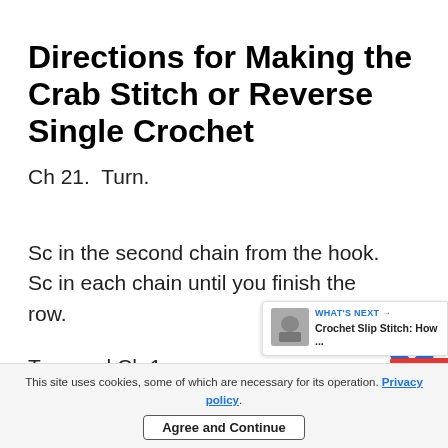Directions for Making the Crab Stitch or Reverse Single Crochet
Ch 21.  Turn.
Sc in the second chain from the hook.  Sc in each chain until you finish the row.
Turn and Ch 1.
Work sc in each sc crochet to the end of ro
This site uses cookies, some of which are necessary for its operation. Privacy policy. Agree and Continue